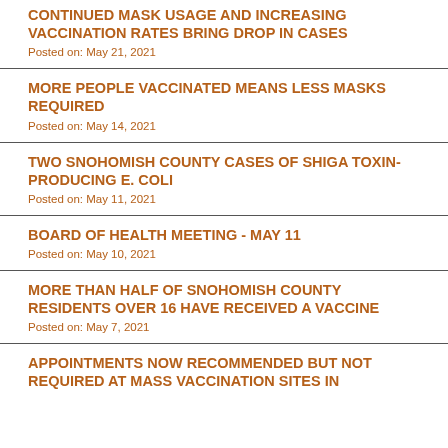CONTINUED MASK USAGE AND INCREASING VACCINATION RATES BRING DROP IN CASES
Posted on: May 21, 2021
MORE PEOPLE VACCINATED MEANS LESS MASKS REQUIRED
Posted on: May 14, 2021
TWO SNOHOMISH COUNTY CASES OF SHIGA TOXIN-PRODUCING E. COLI
Posted on: May 11, 2021
BOARD OF HEALTH MEETING - MAY 11
Posted on: May 10, 2021
MORE THAN HALF OF SNOHOMISH COUNTY RESIDENTS OVER 16 HAVE RECEIVED A VACCINE
Posted on: May 7, 2021
APPOINTMENTS NOW RECOMMENDED BUT NOT REQUIRED AT MASS VACCINATION SITES IN